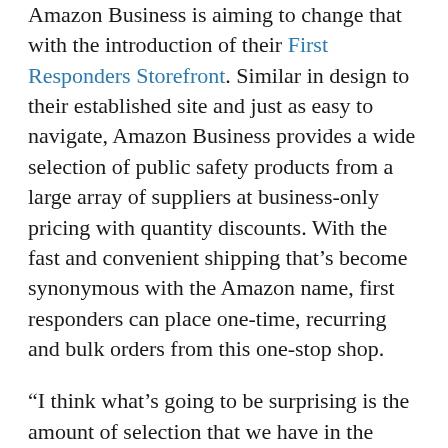Amazon Business is aiming to change that with the introduction of their First Responders Storefront. Similar in design to their established site and just as easy to navigate, Amazon Business provides a wide selection of public safety products from a large array of suppliers at business-only pricing with quantity discounts. With the fast and convenient shipping that's become synonymous with the Amazon name, first responders can place one-time, recurring and bulk orders from this one-stop shop.
“I think what’s going to be surprising is the amount of selection that we have in the public safety arena,” said Austin Burke, national public safety specialist at Amazon Business. “There are a lot of things that you can buy for law enforcement and corrections through Amazon Business.”
The First Responders Storefront aims to provide more